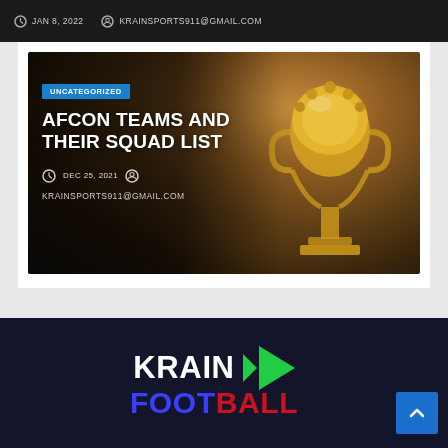JAN 8, 2022  KRAINSPORTS911@GMAIL.COM
[Figure (photo): Article card with AFCON trophy photo background, showing category badge, title, date and author email]
UNCATEGORIZED
AFCON TEAMS AND THEIR SQUAD LIST
DEC 25, 2021  KRAINSPORTS911@GMAIL.COM
[Figure (logo): KRAIN FOOTBALL logo with green play button icon, white KRAIN text, blue and red FOOTBALL text on dark navy background]